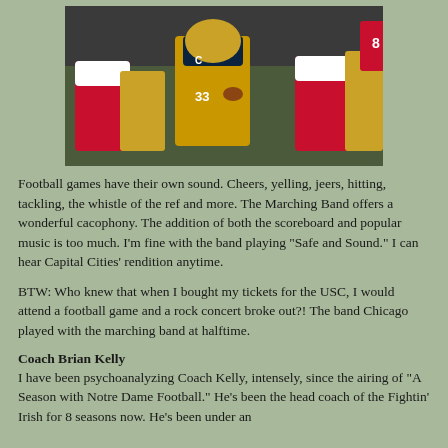[Figure (photo): Football game action photo showing Notre Dame player wearing #33 with C captain patch running with the ball against USC defenders, players in gold and blue uniforms vs red and white uniforms]
Football games have their own sound. Cheers, yelling, jeers, hitting, tackling, the whistle of the ref and more. The Marching Band offers a wonderful cacophony. The addition of both the scoreboard and popular music is too much. I'm fine with the band playing "Safe and Sound." I can hear Capital Cities' rendition anytime.
BTW: Who knew that when I bought my tickets for the USC, I would attend a football game and a rock concert broke out?! The band Chicago played with the marching band at halftime.
Coach Brian Kelly
I have been psychoanalyzing Coach Kelly, intensely, since the airing of "A Season with Notre Dame Football." He's been the head coach of the Fightin' Irish for 8 seasons now. He's been under an